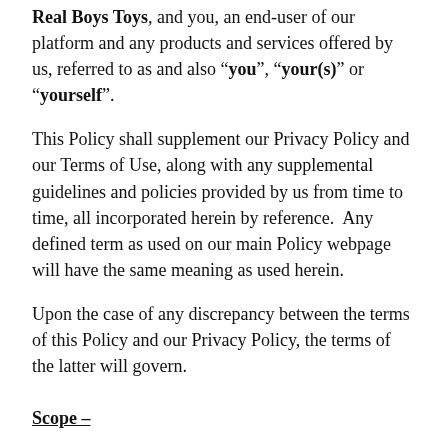Real Boys Toys, and you, an end-user of our platform and any products and services offered by us, referred to as and also "you", "your(s)" or "yourself".
This Policy shall supplement our Privacy Policy and our Terms of Use, along with any supplemental guidelines and policies provided by us from time to time, all incorporated herein by reference.  Any defined term as used on our main Policy webpage will have the same meaning as used herein.
Upon the case of any discrepancy between the terms of this Policy and our Privacy Policy, the terms of the latter will govern.
Scope –
This Policy explains what cookies are and how we use them on our platform.  You should read this Policy so you can understand what type of cookies we use, the information we